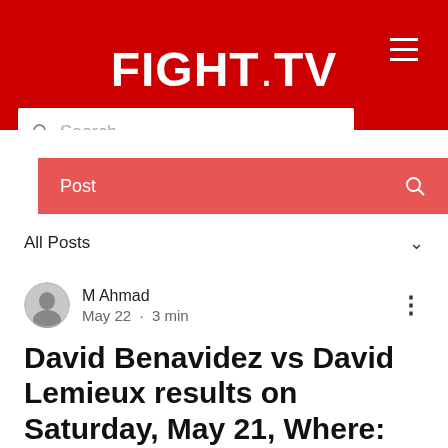FIGHT.TV
[Figure (screenshot): FIGHT.TV website screenshot showing header, search bar, navigation sub-bar, All Posts dropdown, author info, and article title]
Post
All Posts
M Ahmad
May 22 · 3 min
David Benavidez vs David Lemieux results on Saturday, May 21, Where: Gila River Arena